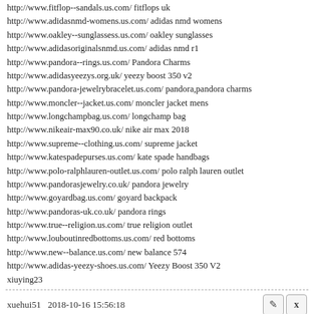http://www.fitflop--sandals.us.com/ fitflops uk
http://www.adidasnmd-womens.us.com/ adidas nmd womens
http://www.oakley--sunglassess.us.com/ oakley sunglasses
http://www.adidasoriginalsnmd.us.com/ adidas nmd r1
http://www.pandora--rings.us.com/ Pandora Charms
http://www.adidasyeezys.org.uk/ yeezy boost 350 v2
http://www.pandora-jewelrybracelet.us.com/ pandora,pandora charms
http://www.moncler--jacket.us.com/ moncler jacket mens
http://www.longchampbag.us.com/ longchamp bag
http://www.nikeair-max90.co.uk/ nike air max 2018
http://www.supreme--clothing.us.com/ supreme jacket
http://www.katespadepurses.us.com/ kate spade handbags
http://www.polo-ralphlauren-outlet.us.com/ polo ralph lauren outlet
http://www.pandorasjewelry.co.uk/ pandora jewelry
http://www.goyardbag.us.com/ goyard backpack
http://www.pandoras-uk.co.uk/ pandora rings
http://www.true--religion.us.com/ true religion outlet
http://www.louboutinredbottoms.us.com/ red bottoms
http://www.new--balance.us.com/ new balance 574
http://www.adidas-yeezy-shoes.us.com/ Yeezy Boost 350 V2
xiuying23
xuehui51   2018-10-16 15:56:18
http://www.adidasoriginalsultraboost.us.com/ adidas ultra boost